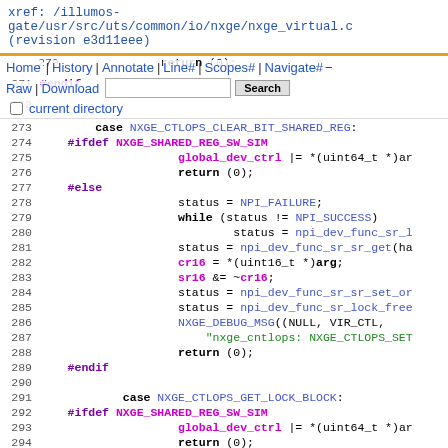xref: /illumos-gate/usr/src/uts/common/io/nxge/nxge_virtual.c (revision e3d11eee)
Home | History | Annotate | Line# | Scopes# | Navigate#
270 return (0);
271 #endif
272
Raw | Download   [ ] current directory
273         case NXGE_CTLOPS_CLEAR_BIT_SHARED_REG:
274     #ifdef NXGE_SHARED_REG_SW_SIM
275                     global_dev_ctrl |= *(uint64_t *)ar
276                     return (0);
277     #else
278                     status = NPI_FAILURE;
279                     while (status != NPI_SUCCESS)
280                             status = npi_dev_func_sr_l
281                     status = npi_dev_func_sr_sr_get(ha
282                     cr16 = *(uint16_t *)arg;
283                     sr16 &= ~cr16;
284                     status = npi_dev_func_sr_sr_set_or
285                     status = npi_dev_func_sr_lock_free
286                     NXGE_DEBUG_MSG((NULL, VIR_CTL,
287                         "nxge_cntlops: NXGE_CTLOPS_SET
288                     return (0);
289     #endif
290
291             case NXGE_CTLOPS_GET_LOCK_BLOCK:
292     #ifdef NXGE_SHARED_REG_SW_SIM
293                     global_dev_ctrl |= *(uint64_t *)ar
294                     return (0);